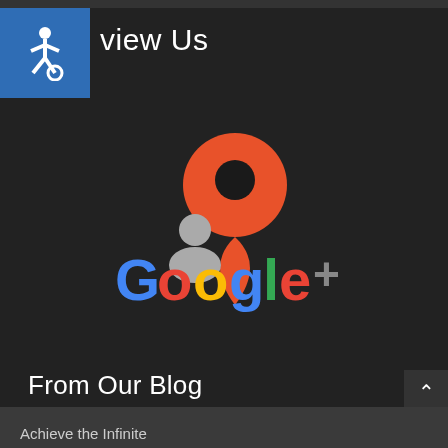[Figure (logo): Blue accessibility wheelchair icon on blue square background]
view Us
[Figure (logo): Google+ logo with orange map pin marker and gray person icon above colorful Google+ text]
From Our Blog
Achieve the Infinite
Sports Rehabilitation And You